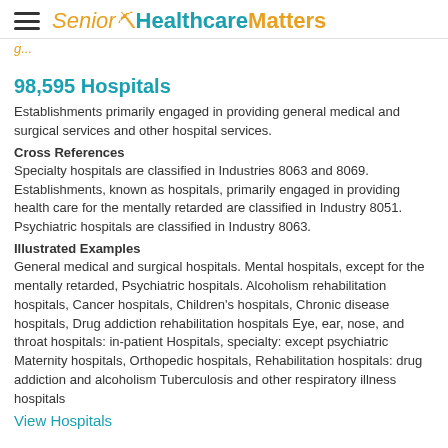Senior HealthcareMatters
98,595 Hospitals
Establishments primarily engaged in providing general medical and surgical services and other hospital services.
Cross References
Specialty hospitals are classified in Industries 8063 and 8069. Establishments, known as hospitals, primarily engaged in providing health care for the mentally retarded are classified in Industry 8051. Psychiatric hospitals are classified in Industry 8063.
Illustrated Examples
General medical and surgical hospitals. Mental hospitals, except for the mentally retarded, Psychiatric hospitals. Alcoholism rehabilitation hospitals, Cancer hospitals, Children's hospitals, Chronic disease hospitals, Drug addiction rehabilitation hospitals Eye, ear, nose, and throat hospitals: in-patient Hospitals, specialty: except psychiatric Maternity hospitals, Orthopedic hospitals, Rehabilitation hospitals: drug addiction and alcoholism Tuberculosis and other respiratory illness hospitals
View Hospitals